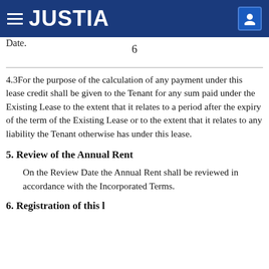JUSTIA
Date.
6
4.3For the purpose of the calculation of any payment under this lease credit shall be given to the Tenant for any sum paid under the Existing Lease to the extent that it relates to a period after the expiry of the term of the Existing Lease or to the extent that it relates to any liability the Tenant otherwise has under this lease.
5. Review of the Annual Rent
On the Review Date the Annual Rent shall be reviewed in accordance with the Incorporated Terms.
6. Registration of this lease